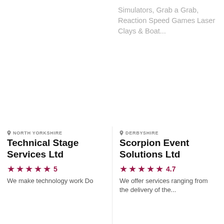Simulators, Grab a Grab, Reaction Speed Games Laser Clays & Boat...
NORTH YORKSHIRE
Technical Stage Services Ltd
5
We make technology work Do
DERBYSHIRE
Scorpion Event Solutions Ltd
4.7
We offer services ranging from the delivery of the...